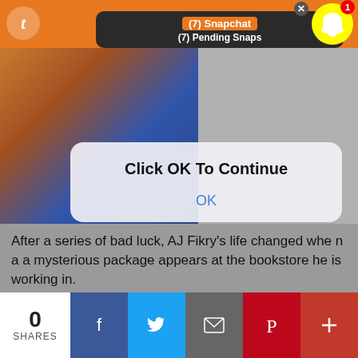[Figure (screenshot): Snapchat notification banner showing '(7) Snapchat' and '(7) Pending Snaps' over an orange header bar with Tumblr icon and Snapchat ghost icon with badge showing 1]
[Figure (photo): Two photos: left shows hands with colorful fabric/books, right shows a lighter colored object on gray background]
Click OK To Continue
OK
After a series of bad luck, AJ Fikry's life changed when a a mysterious package appears at the bookstore he is working in.
( sidenote : omg i love this book! )
34. A Garden of One's Own - Zhou Zuoren
0 SHARES